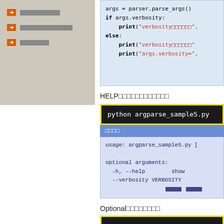→ □□□□□□□□
→ □□□□□□□□□□□
→ □□□□□□
[Figure (screenshot): Python code block showing: args = parser.parse_args() / if args.verbosity: / print('verbosity□□□□□□', / else: / print('verbosity□□□□□□' / print('args.verbosity=',]
HELP□□□□□□□□□□□□
[Figure (screenshot): Black terminal block with yellow border showing: python argparse_sample5.py]
[Figure (screenshot): Output block with blue header showing: □□□□, and body: usage: argparse_sample5.py [ / optional arguments: / -h, --help show / --verbosity VERBOSITY / □□□□]
Optional□□□□□□□□
[Figure (screenshot): Black terminal block with yellow border (partially visible)]